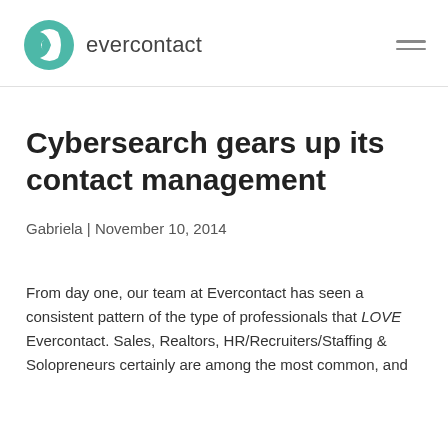evercontact
Cybersearch gears up its contact management
Gabriela | November 10, 2014
From day one, our team at Evercontact has seen a consistent pattern of the type of professionals that LOVE Evercontact. Sales, Realtors, HR/Recruiters/Staffing & Solopreneurs certainly are among the most common, and